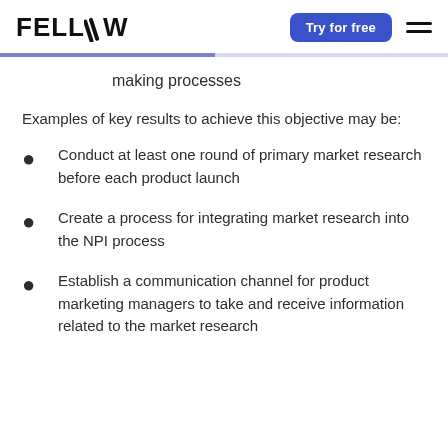FELLOW | Try for free
making processes
Examples of key results to achieve this objective may be:
Conduct at least one round of primary market research before each product launch
Create a process for integrating market research into the NPI process
Establish a communication channel for product marketing managers to take and receive information related to the market research